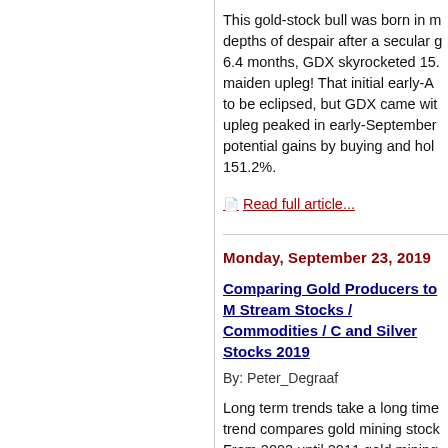This gold-stock bull was born in m depths of despair after a secular g 6.4 months, GDX skyrocketed 15. maiden upleg!  That initial early-A to be eclipsed, but GDX came wit upleg peaked in early-September potential gains by buying and hol 151.2%.
Read full article...
Monday, September 23, 2019
Comparing Gold Producers to M Stream Stocks / Commodities / C and Silver Stocks 2019
By: Peter_Degraaf
Long term trends take a long time trend compares gold mining stock From 2002 until 2011 gold mining